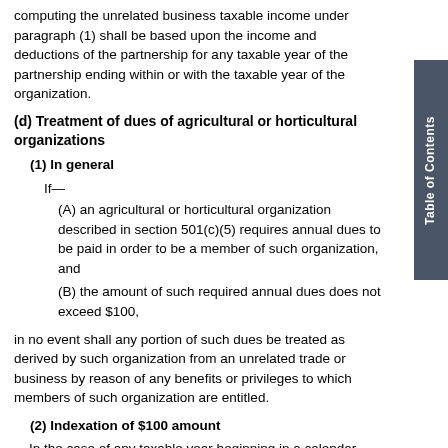computing the unrelated business taxable income under paragraph (1) shall be based upon the income and deductions of the partnership for any taxable year of the partnership ending within or with the taxable year of the organization.
(d) Treatment of dues of agricultural or horticultural organizations
(1) In general
If—
(A) an agricultural or horticultural organization described in section 501(c)(5) requires annual dues to be paid in order to be a member of such organization, and
(B) the amount of such required annual dues does not exceed $100,
in no event shall any portion of such dues be treated as derived by such organization from an unrelated trade or business by reason of any benefits or privileges to which members of such organization are entitled.
(2) Indexation of $100 amount
In the case of any taxable year beginning in a calendar year after 1995, the $100 amount in paragraph (1) shall be increased by an amount equal to—